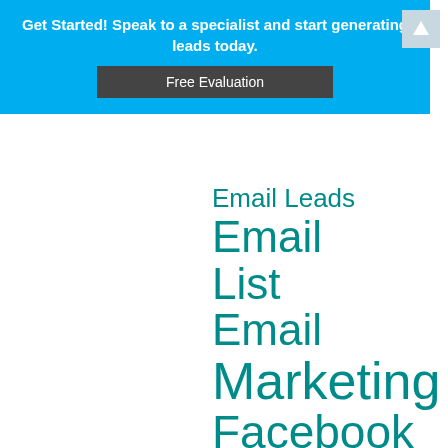Get Started! Speak to a specialist and start generating leads today.
Free Evaluation
Email Leads Email
List Email
Marketing
Facebook
Facebook Ads
Facebook Campaigns
Facebook Lead Ad Creative